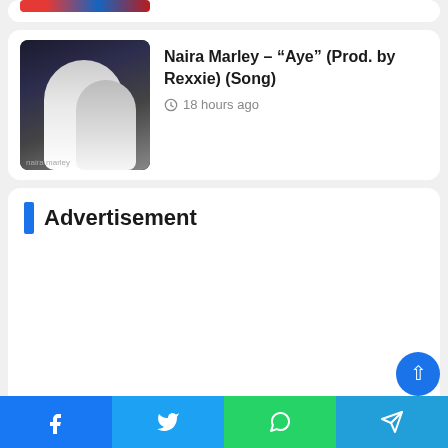Naira Marley – “Aye” (Prod. by Rexxie) (Song)
Advertisement
Facebook | Twitter | WhatsApp | Telegram